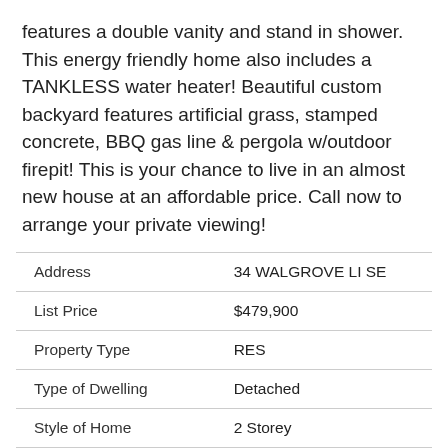features a double vanity and stand in shower. This energy friendly home also includes a TANKLESS water heater! Beautiful custom backyard features artificial grass, stamped concrete, BBQ gas line & pergola w/outdoor firepit! This is your chance to live in an almost new house at an affordable price. Call now to arrange your private viewing!
|  |  |
| --- | --- |
| Address | 34 WALGROVE LI SE |
| List Price | $479,900 |
| Property Type | RES |
| Type of Dwelling | Detached |
| Style of Home | 2 Storey |
| Area | Calgary S |